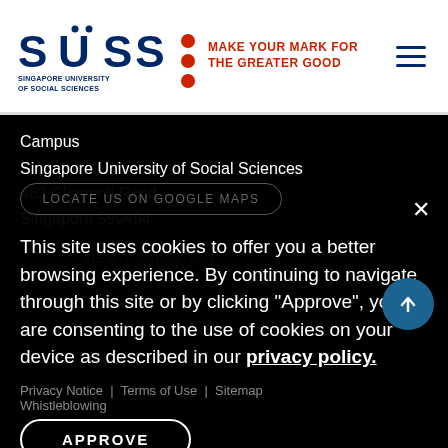[Figure (logo): SUSS Singapore University of Social Sciences logo with red dots and tagline MAKE YOUR MARK FOR THE GREATER GOOD]
Campus
Singapore University of Social Sciences
463 Clementi Road
Singapore 599494
VIEW CAMPUS MAP
LOCATE US ON GOOGLE MAPS
This site uses cookies to offer you a better browsing experience. By continuing to navigate through this site or by clicking "Approve", you are consenting to the use of cookies on your device as described in our privacy policy.
Privacy Notice  |  Terms of Use  |  Sitemap
Whistleblowing
APPROVE
© 2022 Singapore University of Social Sciences. All rights reserved.